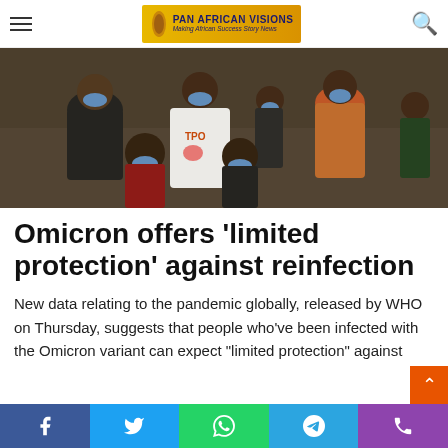Pan African Visions — Making African Success Story News
[Figure (photo): Group of African people wearing blue face masks at an indoor gathering; one person wearing a white TPO shirt stands in the center]
Omicron offers ‘limited protection’ against reinfection
New data relating to the pandemic globally, released by WHO on Thursday, suggests that people who’ve been infected with the Omicron variant can expect “limited protection” against